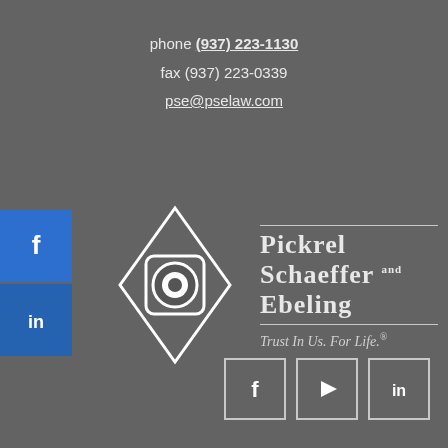phone (937) 223-1130
fax (937) 223-0339
pse@pselaw.com
[Figure (logo): Pickrel Schaeffer and Ebeling law firm logo with diamond-shaped icon and text: PICKREL SCHAEFFER AND EBELING Trust In Us. For Life.]
[Figure (infographic): Social media icon buttons: Facebook, YouTube, LinkedIn in outlined squares at bottom right; Facebook and LinkedIn blue buttons on left side]